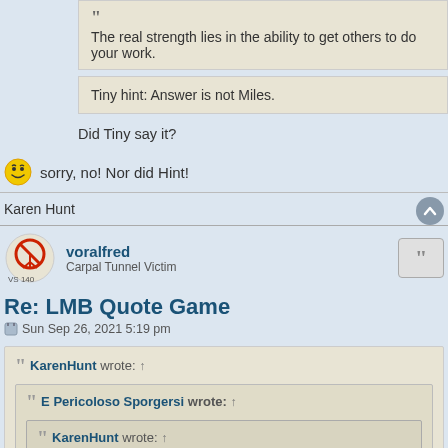The real strength lies in the ability to get others to do your work.
Tiny hint: Answer is not Miles.
Did Tiny say it?
sorry, no! Nor did Hint!
Karen Hunt
voralfred
Carpal Tunnel Victim
Re: LMB Quote Game
Sun Sep 26, 2021 5:19 pm
KarenHunt wrote: ↑
E Pericoloso Sporgersi wrote: ↑
KarenHunt wrote: ↑